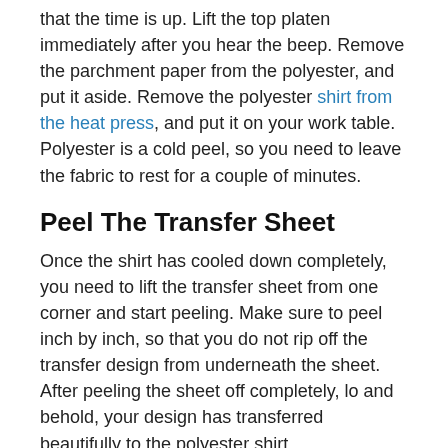that the time is up. Lift the top platen immediately after you hear the beep. Remove the parchment paper from the polyester, and put it aside. Remove the polyester shirt from the heat press, and put it on your work table. Polyester is a cold peel, so you need to leave the fabric to rest for a couple of minutes.
Peel The Transfer Sheet
Once the shirt has cooled down completely, you need to lift the transfer sheet from one corner and start peeling. Make sure to peel inch by inch, so that you do not rip off the transfer design from underneath the sheet. After peeling the sheet off completely, lo and behold, your design has transferred beautifully to the polyester shirt.
Conclusion